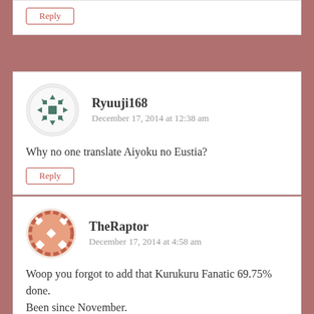Reply
Ryuuji168
December 17, 2014 at 12:38 am
Why no one translate Aiyoku no Eustia?
Reply
TheRaptor
December 17, 2014 at 4:58 am
Woop you forgot to add that Kurukuru Fanatic 69.75% done.
Been since November.
Reply